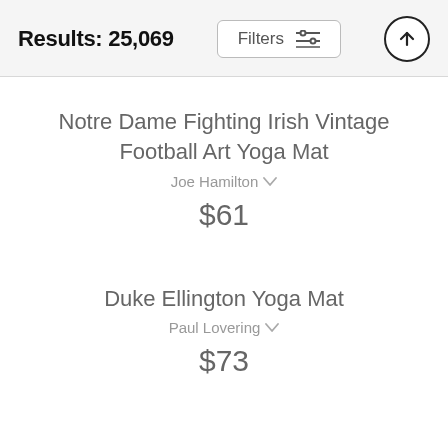Results: 25,069
Filters
Notre Dame Fighting Irish Vintage Football Art Yoga Mat
Joe Hamilton
$61
Duke Ellington Yoga Mat
Paul Lovering
$73